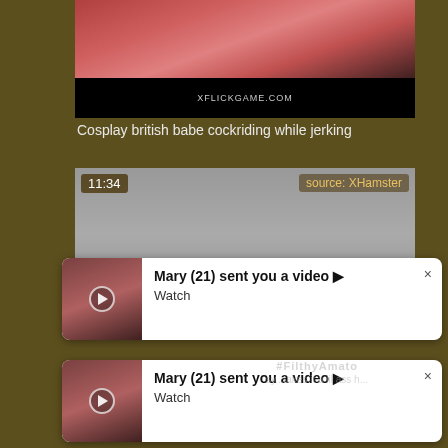[Figure (screenshot): Video thumbnail showing adult content with black bar at bottom containing website URL text]
Cosplay british babe cockriding while jerking
[Figure (screenshot): Video thumbnail with timestamp 11:34 and source label XHamster, showing blurred adult content]
[Figure (screenshot): Notification popup: Mary (21) sent you a video ▶ Watch]
[Figure (screenshot): Second notification popup: Mary (21) sent you a video ▶ Watch, with FilthyAmato watermark and partially visible text below]